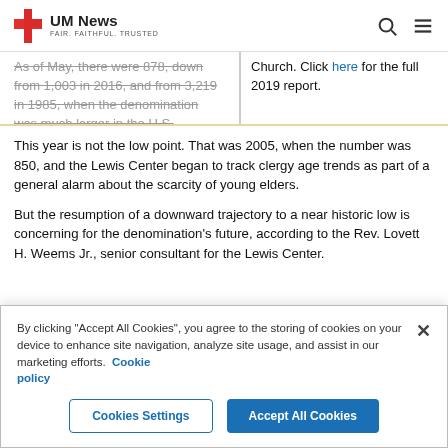UM News — FAIR. FAITHFUL. TRUSTED.
As of May, there were 878, down from 1,003 in 2016, and from 3,219 in 1985, when the denomination was much larger in the U.S.
Church. Click here for the full 2019 report.
This year is not the low point. That was 2005, when the number was 850, and the Lewis Center began to track clergy age trends as part of a general alarm about the scarcity of young elders.
But the resumption of a downward trajectory to a near historic low is concerning for the denomination's future, according to the Rev. Lovett H. Weems Jr., senior consultant for the Lewis Center.
By clicking "Accept All Cookies", you agree to the storing of cookies on your device to enhance site navigation, analyze site usage, and assist in our marketing efforts. Cookie policy